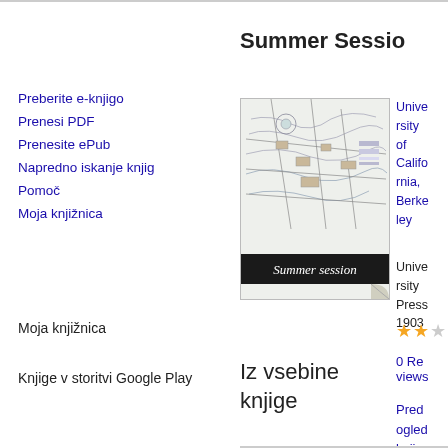Summer Sessio
Preberite e-knjigo
Prenesi PDF
Prenesite ePub
Napredno iskanje knjig
Pomoč
Moja knjižnica
Moja knjižnica
Knjige v storitvi Google Play
[Figure (illustration): Book cover showing a map labeled 'Summer session']
University of California, Berkeley
University Press 1903
★★☆ 0 Reviews
Predogled knjige
Iz vsebine knjige